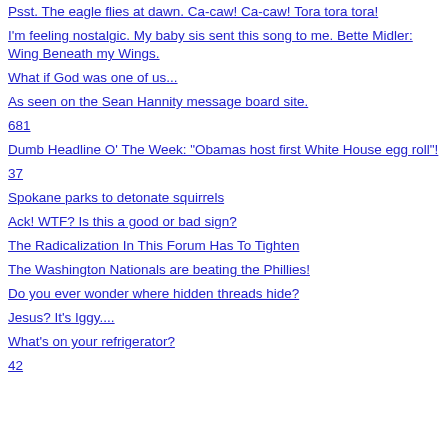Psst. The eagle flies at dawn. Ca-caw! Ca-caw! Tora tora tora!
I'm feeling nostalgic. My baby sis sent this song to me. Bette Midler: Wing Beneath my Wings.
What if God was one of us...
As seen on the Sean Hannity message board site.
681
Dumb Headline O' The Week: "Obamas host first White House egg roll"!
37
Spokane parks to detonate squirrels
Ack! WTF? Is this a good or bad sign?
The Radicalization In This Forum Has To Tighten
The Washington Nationals are beating the Phillies!
Do you ever wonder where hidden threads hide?
Jesus? It's Iggy....
What's on your refrigerator?
42